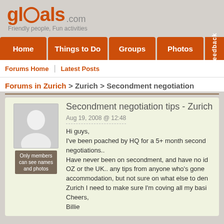[Figure (logo): glocals.com logo with tagline 'Friendly people, Fun activities']
Home | Things to Do | Groups | Photos | Feedback
Forums Home | Latest Posts
Forums in Zurich > Zurich > Secondment negotiation
Secondment negotiation tips - Zurich
Aug 19, 2008 @ 12:48
Hi guys,
I've been poached by HQ for a 5+ month second... negotiations..
Have never been on secondment, and have no id... OZ or the UK.. any tips from anyone who's gone... accommodation, but not sure on what else to dem... Zurich I need to make sure I'm coving all my basi...
Cheers,
Billie